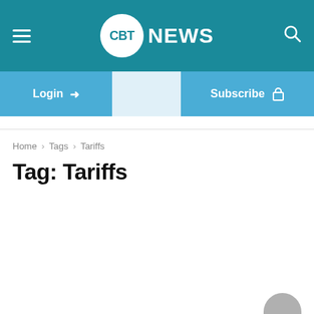CBT NEWS
Login → Subscribe 🔒
Home › Tags › Tariffs
Tag: Tariffs